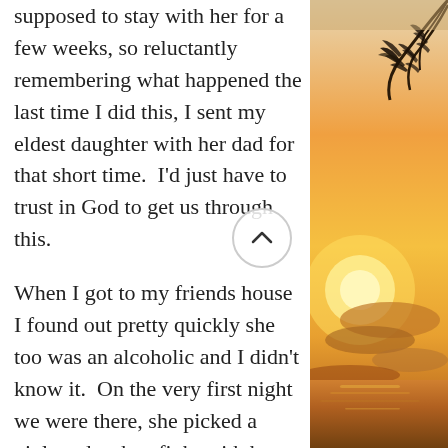supposed to stay with her for a few weeks, so reluctantly remembering what happened the last time I did this, I sent my eldest daughter with her dad for that short time.  I'd just have to trust in God to get us through this.
When I got to my friends house I found out pretty quickly she too was an alcoholic and I didn't know it.  On the very first night we were there, she picked a violent drunken fight with her boyfriend, and then he came out of their room angry yelling "YOU... you need go."  It was midnight but I didn't want my three month old baby around their fighting so I got up and we walked out.  I heard more hitting and screaming and felt a bad for her, but I didn't want...
[Figure (photo): Tropical sunset scene with palm tree fronds visible at the top right, golden sun setting over water with warm orange and yellow clouds]